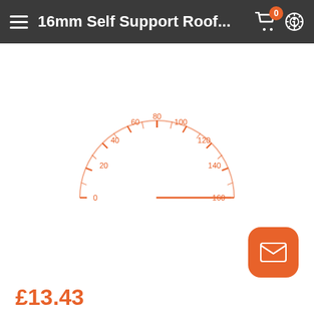16mm Self Support Roof...
[Figure (other): Speedometer/gauge loading indicator in orange, showing scale from 0 to 160 with needle pointing toward 160]
£13.43